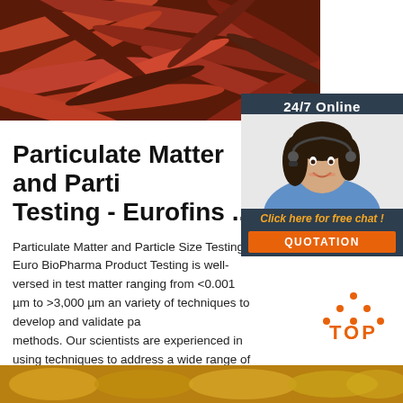[Figure (photo): Close-up photo of many earthworms/red worms tangled together on dark background]
[Figure (photo): Customer service representative with headset, 24/7 online chat widget with dark navy background, orange 'QUOTATION' button]
Particulate Matter and Parti Testing - Eurofins ...
Particulate Matter and Particle Size Testing. Euro BioPharma Product Testing is well-versed in test matter ranging from <0.001 µm to >3,000 µm an variety of techniques to develop and validate par methods. Our scientists are experienced in using techniques to address a wide range of product and ...
[Figure (logo): Orange TOP logo with dot pattern above text]
Get Price
[Figure (photo): Partial bottom strip image, appears to show food or organic material in yellow/brown tones]